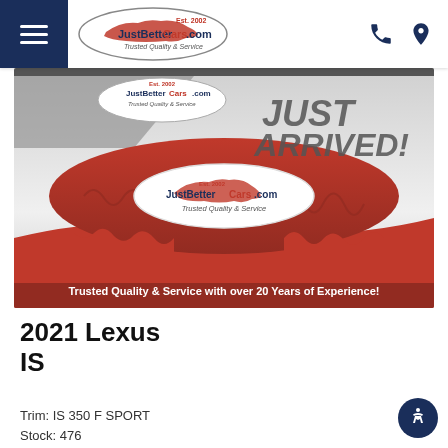[Figure (logo): JustBetterCars.com logo — oval shape with red car silhouette, Est. 2002, Trusted Quality & Service]
[Figure (photo): Car dealership promo image: red cloth-draped car shape with JustBetterCars.com logo and 'JUST ARRIVED!' text at top, red banner at bottom reading 'Trusted Quality & Service with over 20 Years of Experience!']
2021 Lexus IS
Trim: IS 350 F SPORT
Stock: (truncated)